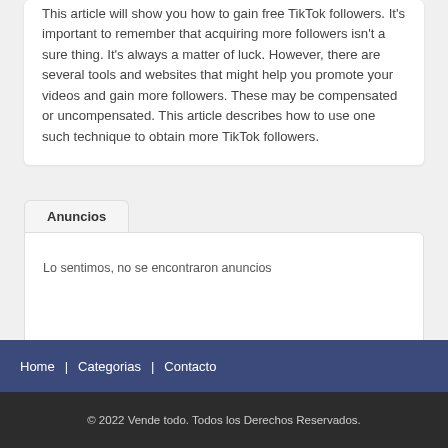This article will show you how to gain free TikTok followers. It's important to remember that acquiring more followers isn't a sure thing. It's always a matter of luck. However, there are several tools and websites that might help you promote your videos and gain more followers. These may be compensated or uncompensated. This article describes how to use one such technique to obtain more TikTok followers.
Anuncios
Lo sentimos, no se encontraron anuncios
Home | Categorias | Contacto
© 2022 Vende todo. Todos los Derechos Reservados.